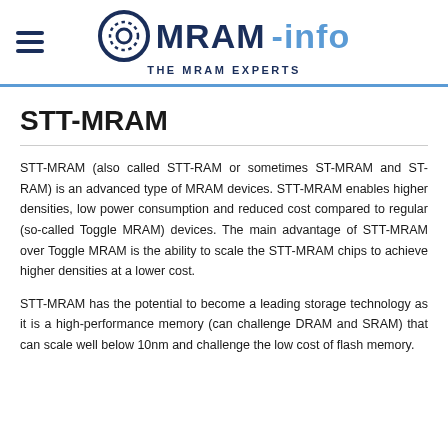MRAM-info — THE MRAM EXPERTS
STT-MRAM
STT-MRAM (also called STT-RAM or sometimes ST-MRAM and ST-RAM) is an advanced type of MRAM devices. STT-MRAM enables higher densities, low power consumption and reduced cost compared to regular (so-called Toggle MRAM) devices. The main advantage of STT-MRAM over Toggle MRAM is the ability to scale the STT-MRAM chips to achieve higher densities at a lower cost.
STT-MRAM has the potential to become a leading storage technology as it is a high-performance memory (can challenge DRAM and SRAM) that can scale well below 10nm and challenge the low cost of flash memory.